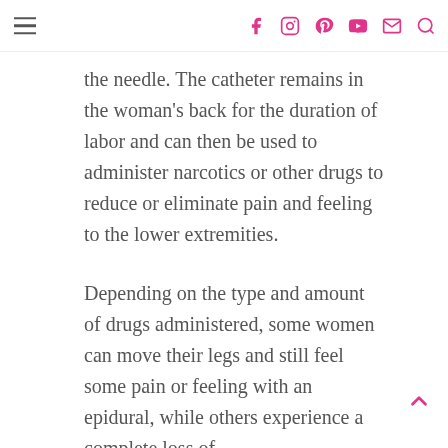Navigation bar with hamburger menu and social icons (Facebook, Instagram, Pinterest, YouTube, Email, Search)
the needle. The catheter remains in the woman's back for the duration of labor and can then be used to administer narcotics or other drugs to reduce or eliminate pain and feeling to the lower extremities.
Depending on the type and amount of drugs administered, some women can move their legs and still feel some pain or feeling with an epidural, while others experience a complete loss of